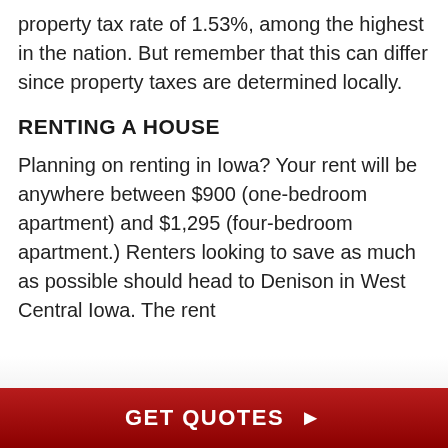property tax rate of 1.53%, among the highest in the nation. But remember that this can differ since property taxes are determined locally.
RENTING A HOUSE
Planning on renting in Iowa? Your rent will be anywhere between $900 (one-bedroom apartment) and $1,295 (four-bedroom apartment.) Renters looking to save as much as possible should head to Denison in West Central Iowa. The rent
GET QUOTES ▶